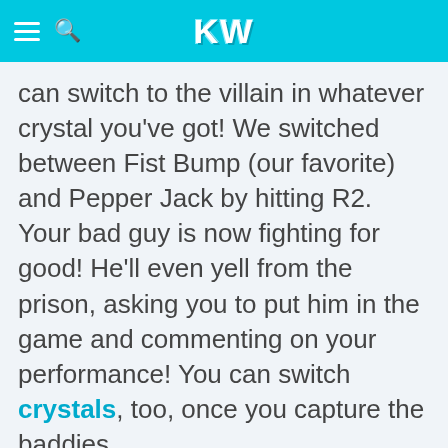KW
can switch to the villain in whatever crystal you've got! We switched between Fist Bump (our favorite) and Pepper Jack by hitting R2. Your bad guy is now fighting for good! He'll even yell from the prison, asking you to put him in the game and commenting on your performance! You can switch crystals, too, once you capture the baddies.